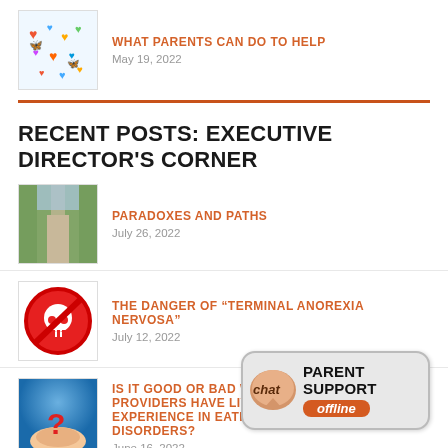[Figure (illustration): Colorful hearts and butterflies illustration thumbnail]
WHAT PARENTS CAN DO TO HELP
May 19, 2022
RECENT POSTS: EXECUTIVE DIRECTOR'S CORNER
[Figure (photo): Path through green trees thumbnail]
PARADOXES AND PATHS
July 26, 2022
[Figure (illustration): Skull and crossbones danger sign thumbnail]
THE DANGER OF “TERMINAL ANOREXIA NERVOSA”
July 12, 2022
[Figure (photo): Hands holding question mark thumbnail]
IS IT GOOD OR BAD WHEN PROVIDERS HAVE LIVED EXPERIENCE IN EATING DISORDERS?
June 16, 2022
THE STRENGTH YOU DIDN'T KNOW
[Figure (infographic): Parent Support chat widget showing offline status]